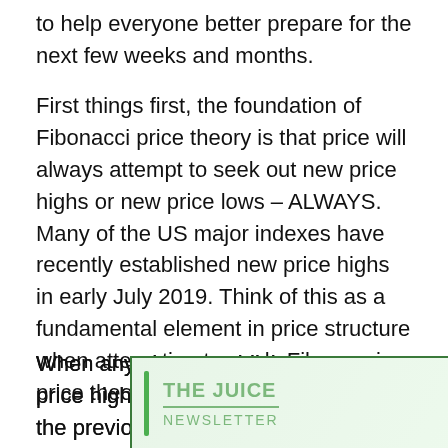to help everyone better prepare for the next few weeks and months.
First things first, the foundation of Fibonacci price theory is that price will always attempt to seek out new price highs or new price lows – ALWAYS. Many of the US major indexes have recently established new price highs in early July 2019. Think of this as a fundamental element in price structure when attempting to apply Fibonacci price theory.
When any chart establishes a new price high (a high price that is above the previous rotational peak level in price), the trend is established as BULLISH and we w… ne, that … that
[Figure (other): Newsletter popup overlay for 'THE JUICE NEWSLETTER' with green border and light green gradient background, with a close button (x) in the top-right corner.]